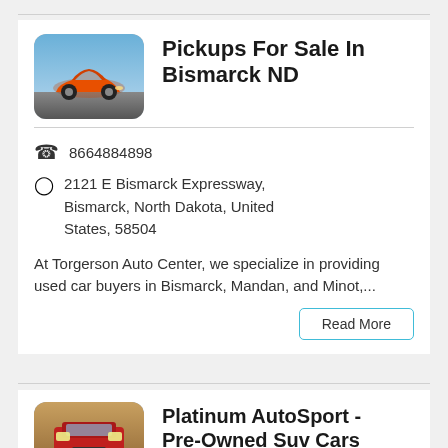[Figure (photo): Orange sports car (Lamborghini-style) driving on a road with blue sky background, rounded rectangle app-icon style thumbnail]
Pickups For Sale In Bismarck ND
8664884898
2121 E Bismarck Expressway, Bismarck, North Dakota, United States, 58504
At Torgerson Auto Center, we specialize in providing used car buyers in Bismarck, Mandan, and Minot,...
Read More
[Figure (photo): Classic red car front view thumbnail, rounded rectangle app-icon style]
Platinum AutoSport - Pre-Owned Suv Cars